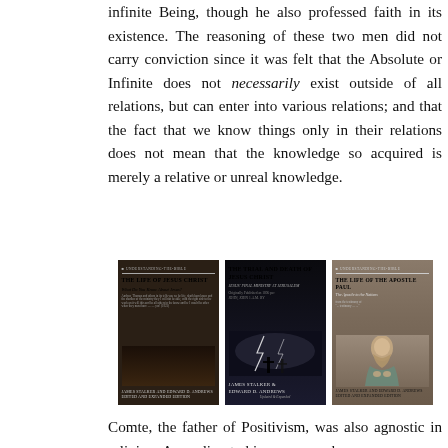infinite Being, though he also professed faith in its existence. The reasoning of these two men did not carry conviction since it was felt that the Absolute or Infinite does not necessarily exist outside of all relations, but can enter into various relations; and that the fact that we know things only in their relations does not mean that the knowledge so acquired is merely a relative or unreal knowledge.
[Figure (illustration): Three book covers side by side: (1) 'The Life of Jesus Christ – What Do You Know About Jesus?' by James Stalker and Edward D. Andrews, Edited and Expanded Edition, dark brown cover; (2) 'The Trial and Death of Jesus Christ – Jesus' Final Ministry at Jerusalem' by James Stalker and Edward D. Andrews, Updated and Expanded, dark cover with crosses and lightning; (3) 'The Life of the Apostle Paul – The Apostle to the Nations' by James Stalker and Edward D. Andrews, Edited and Expanded Edition, featuring an illustration of Paul.]
Comte, the father of Positivism, was also agnostic in religion. According to him, man can know